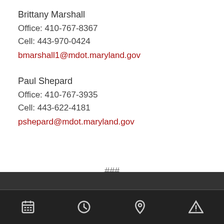Brittany Marshall
Office: 410-767-8367
Cell: 443-970-0424
bmarshall1@mdot.maryland.gov
Paul Shepard
Office: 410-767-3935
Cell: 443-622-4181
pshepard@mdot.maryland.gov
###
[Figure (screenshot): Mobile app navigation bar with four icons: calendar, clock, map pin, and warning triangle]